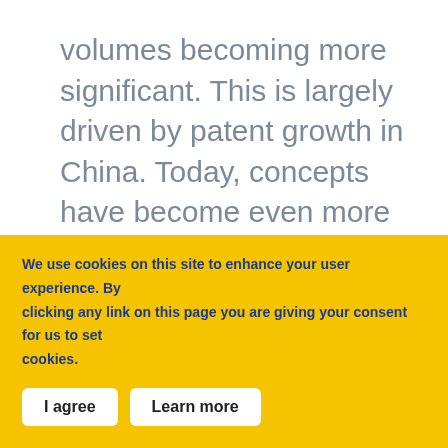the year 2000, we see patent volumes becoming more significant. This is largely driven by patent growth in China. Today, concepts have become even more connected across the entire patent landscape, as time and patent innovation complexity have progressed.
Addressing the concern: Patent offices and global
We use cookies on this site to enhance your user experience. By clicking any link on this page you are giving your consent for us to set cookies.